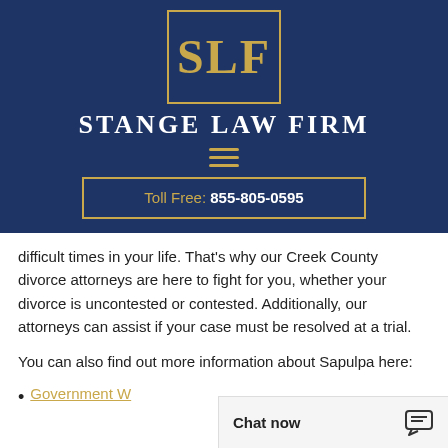[Figure (logo): SLF logo in gold text within a gold-bordered rectangle on dark navy background, with 'STANGE LAW FIRM' text below]
Toll Free: 855-805-0595
difficult times in your life. That's why our Creek County divorce attorneys are here to fight for you, whether your divorce is uncontested or contested. Additionally, our attorneys can assist if your case must be resolved at a trial.
You can also find out more information about Sapulpa here:
Government W...
Chat now